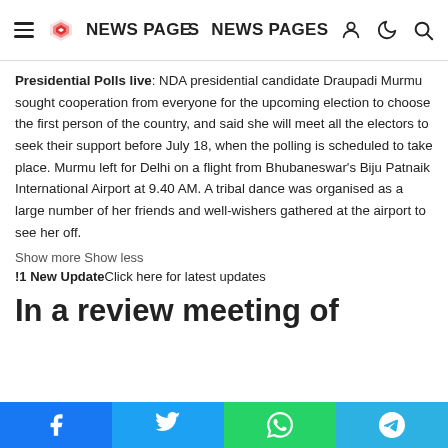NEWS PAGES
Presidential Polls live: NDA presidential candidate Draupadi Murmu sought cooperation from everyone for the upcoming election to choose the first person of the country, and said she will meet all the electors to seek their support before July 18, when the polling is scheduled to take place. Murmu left for Delhi on a flight from Bhubaneswar’s Biju Patnaik International Airport at 9.40 AM. A tribal dance was organised as a large number of her friends and well-wishers gathered at the airport to see her off.
Show more Show less
!1 New UpdateClick here for latest updates
In a review meeting of